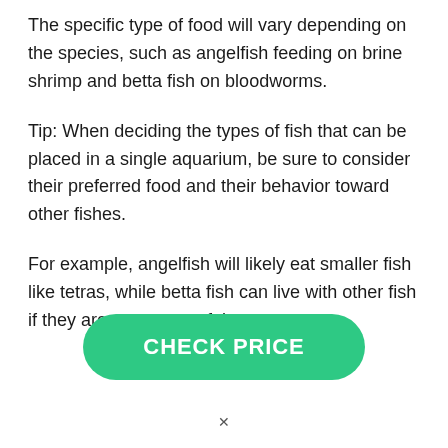The specific type of food will vary depending on the species, such as angelfish feeding on brine shrimp and betta fish on bloodworms.
Tip: When deciding the types of fish that can be placed in a single aquarium, be sure to consider their preferred food and their behavior toward other fishes.
For example, angelfish will likely eat smaller fish like tetras, while betta fish can live with other fish if they are more peaceful.
CHECK PRICE